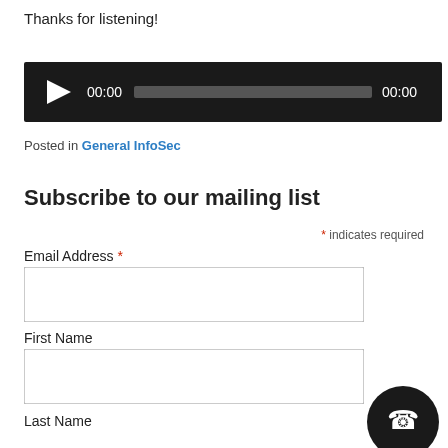Thanks for listening!
[Figure (other): Audio player widget with dark background, play button triangle, time display 00:00, progress bar, and end time 00:00]
Posted in General InfoSec
Subscribe to our mailing list
* indicates required
Email Address *
First Name
Last Name
[Figure (other): Black circular phone/call button icon in bottom right corner]